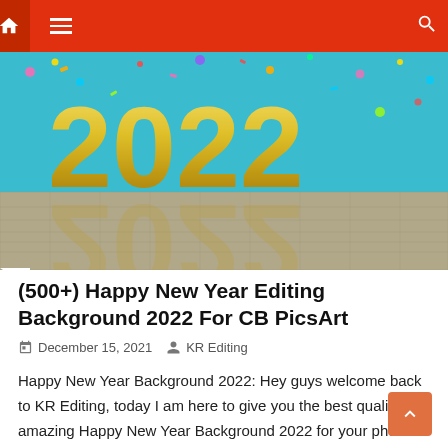Navigation bar with home icon, menu icon, and search icon
[Figure (photo): Happy New Year 2022 photo with large golden 3D numerals '2022' on a tiled floor against a teal/cyan background with colorful confetti falling]
(500+) Happy New Year Editing Background 2022 For CB PicsArt
December 15, 2021   KR Editing
Happy New Year Background 2022: Hey guys welcome back to KR Editing, today I am here to give you the best quality amazing Happy New Year Background 2022 for your photo editing. We almost use Picsart Happy New Year Editing Background 2022 for every kind of photo editing. so in this